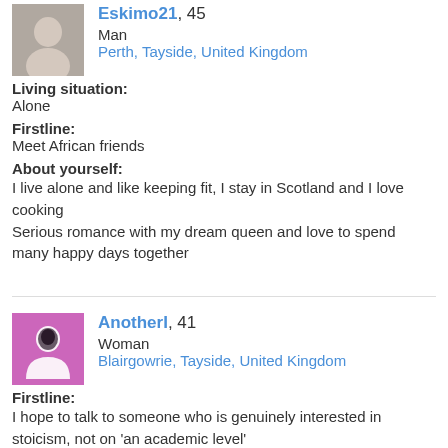[Figure (photo): Small user profile photo of a person, grayscale/muted tones]
Eskimo21, 45
Man
Perth, Tayside, United Kingdom
Living situation:
Alone
Firstline:
Meet African friends
About yourself:
I live alone and like keeping fit, I stay in Scotland and I love cooking
Serious romance with my dream queen and love to spend many happy days together
[Figure (illustration): Pink square avatar with a female silhouette icon in white/dark]
AnotherI, 41
Woman
Blairgowrie, Tayside, United Kingdom
Firstline:
I hope to talk to someone who is genuinely interested in stoicism, not on 'an academic level'
About yourself:
Read between the lines